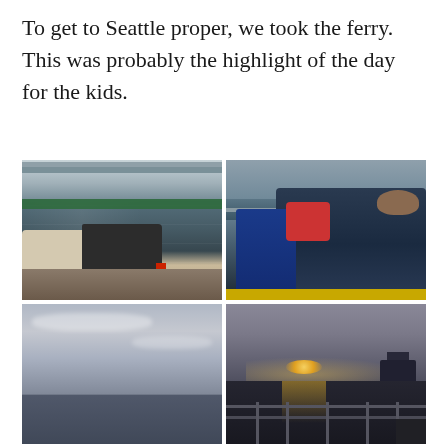To get to Seattle proper, we took the ferry. This was probably the highlight of the day for the kids.
[Figure (photo): View from inside a car on the car deck of a ferry, showing cars lined up ahead including a dark pickup truck, with green and white ferry structure visible above]
[Figure (photo): A man holding a young child in a red jacket, with another child in a blue jacket, all looking out the window of the ferry at the water]
[Figure (photo): View of Puget Sound water and sky from the ferry at dusk, with dramatic clouds and calm water, a distant boat visible on the horizon]
[Figure (photo): Sunset over the water viewed from ferry dock/railing area, with sun setting behind a lighthouse or building structure, golden reflection on the water, a person visible in the lower right]